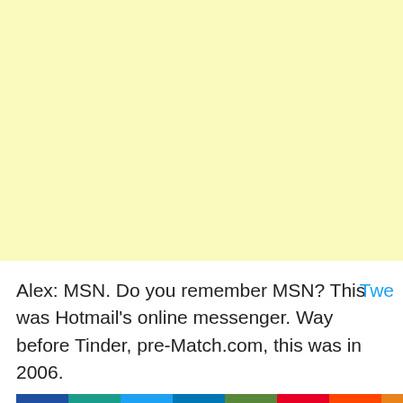[Figure (other): Light yellow advertisement banner placeholder]
Alex: MSN. Do you remember MSN? This was Hotmail's online messenger. Way before Tinder, pre-Match.com, this was in 2006.
[Figure (other): Social sharing buttons row: Facebook, MeWe, Twitter, LinkedIn, Email, Pinterest, Reddit, Mix, WhatsApp]
A...rs old, going to